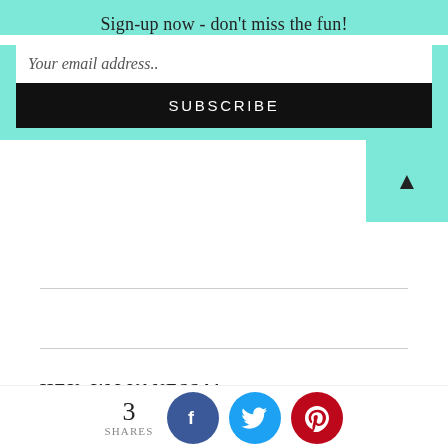Sign-up now - don't miss the fun!
Your email address..
SUBSCRIBE
[Figure (other): Back-to-top arrow tab button in teal/mint color with a black triangle arrow pointing upward]
HEY, I'M VANESSA!
3 SHARES
[Figure (other): Social share buttons: Facebook (blue circle with f), Twitter (light blue circle with bird), Pinterest (red circle with P)]